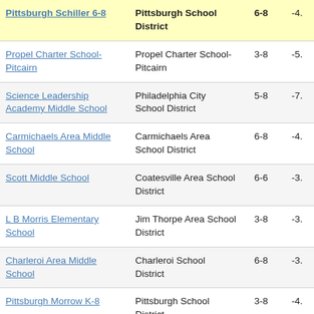| School | District | Grades | Score |
| --- | --- | --- | --- |
| Pittsburgh Schiller 6-8 | Pittsburgh School District | 6-8 | -4. |
| Propel Charter School-Pitcairn | Propel Charter School-Pitcairn | 3-8 | -5. |
| Science Leadership Academy Middle School | Philadelphia City School District | 5-8 | -7. |
| Carmichaels Area Middle School | Carmichaels Area School District | 6-8 | -4. |
| Scott Middle School | Coatesville Area School District | 6-6 | -3. |
| L B Morris Elementary School | Jim Thorpe Area School District | 3-8 | -3. |
| Charleroi Area Middle School | Charleroi School District | 6-8 | -3. |
| Pittsburgh Morrow K-8 | Pittsburgh School District | 3-8 | -4. |